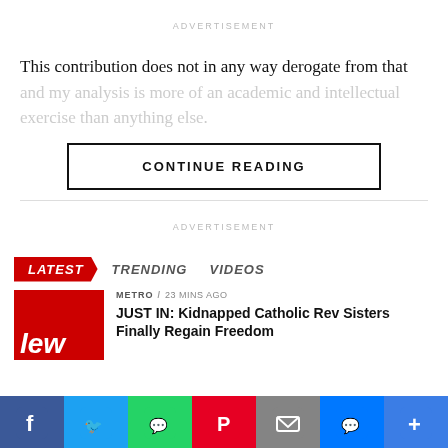ADVERTISEMENT
This contribution does not in any way derogate from that and my analysis is more of an academic and intellectual exercise than anything else.
CONTINUE READING
ADVERTISEMENT
LATEST    TRENDING    VIDEOS
METRO / 23 mins ago
JUST IN: Kidnapped Catholic Rev Sisters Finally Regain Freedom